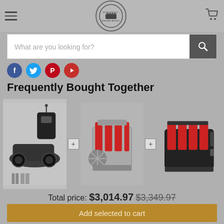Enginediy store header with hamburger menu, logo, and cart icon
What are you looking for?
[Figure (screenshot): Social media share icons row: Facebook (blue), Twitter (light blue), Pinterest (red), YouTube (red)]
Frequently Bought Together
[Figure (photo): Three product images side by side: RC car kit with transmitter, red V8 engine model kit, and red engine block model, separated by plus signs]
Total price: $3,014.97 $3,349.97
Add selected to cart
This item: RC Car Kits Set with Toyan Engine,